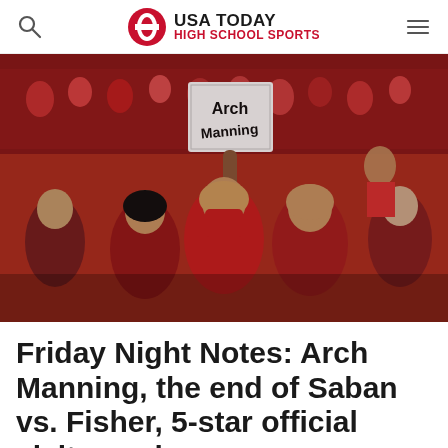USA TODAY HIGH SCHOOL SPORTS
[Figure (photo): A crowd of sports fans in red clothing in stadium stands, with one person holding up a handwritten sign reading 'Arch Manning']
Friday Night Notes: Arch Manning, the end of Saban vs. Fisher, 5-star official visits, and more